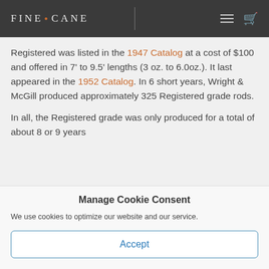FINE • CANE
Registered was listed in the 1947 Catalog at a cost of $100 and offered in 7' to 9.5' lengths (3 oz. to 6.0oz.). It last appeared in the 1952 Catalog. In 6 short years, Wright & McGill produced approximately 325 Registered grade rods.

In all, the Registered grade was only produced for a total of about 8 or 9 years
Manage Cookie Consent
We use cookies to optimize our website and our service.
Accept